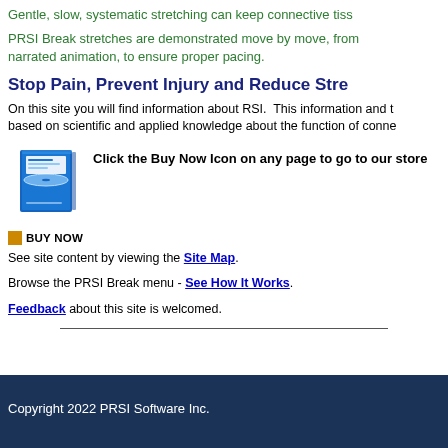Gentle, slow, systematic stretching can keep connective tiss
PRSI Break stretches are demonstrated move by move, from narrated animation, to ensure proper pacing.
Stop Pain, Prevent Injury and Reduce Stre
On this site you will find information about RSI.  This information and t based on scientific and applied knowledge about the function of conne
[Figure (other): Blue DVD/CD product box image for PRSI Break software]
Click the Buy Now Icon on any page to go to our store
BUY NOW
See site content by viewing the Site Map.
Browse the PRSI Break menu - See How It Works.
Feedback about this site is welcomed.
Copyright 2022 PRSI Software Inc.